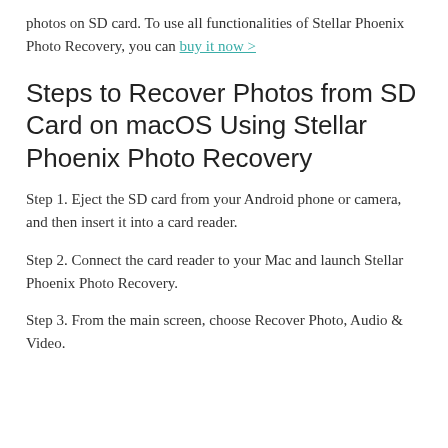photos on SD card. To use all functionalities of Stellar Phoenix Photo Recovery, you can buy it now >
Steps to Recover Photos from SD Card on macOS Using Stellar Phoenix Photo Recovery
Step 1. Eject the SD card from your Android phone or camera, and then insert it into a card reader.
Step 2. Connect the card reader to your Mac and launch Stellar Phoenix Photo Recovery.
Step 3. From the main screen, choose Recover Photo, Audio & Video.